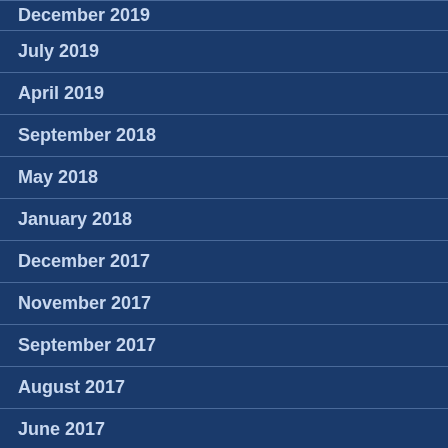December 2019
July 2019
April 2019
September 2018
May 2018
January 2018
December 2017
November 2017
September 2017
August 2017
June 2017